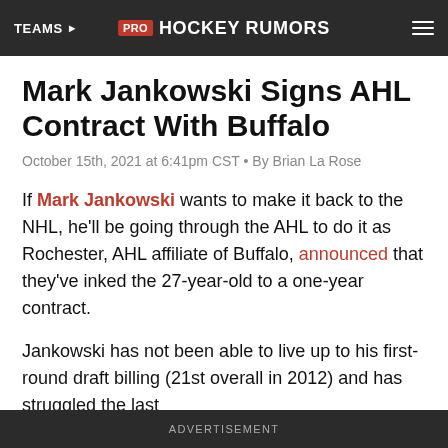TEAMS | PRO HOCKEY RUMORS
Mark Jankowski Signs AHL Contract With Buffalo
October 15th, 2021 at 6:41pm CST • By Brian La Rose
If Mark Jankowski wants to make it back to the NHL, he'll be going through the AHL to do it as Rochester, AHL affiliate of Buffalo, announced that they've inked the 27-year-old to a one-year contract.
Jankowski has not been able to live up to his first-round draft billing (21st overall in 2012) and has struggled the last
ADVERTISEMENT